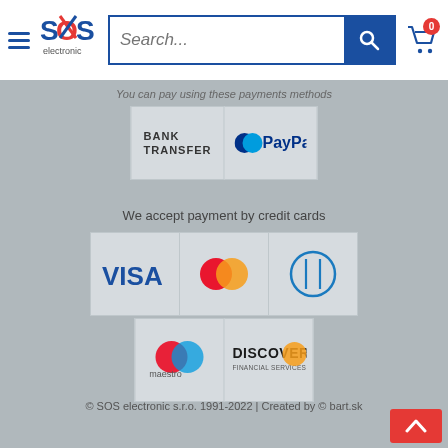[Figure (screenshot): Website header with hamburger menu, SOS electronic logo, search bar, and shopping cart with 0 badge]
You can pay using these payments methods
[Figure (logo): Bank Transfer and PayPal payment method logos]
We accept payment by credit cards
[Figure (logo): Visa, Mastercard, and Diners Club credit card logos in top row; Maestro and Discover Financial Services in bottom row]
© SOS electronic s.r.o. 1991-2022 | Created by © bart.sk